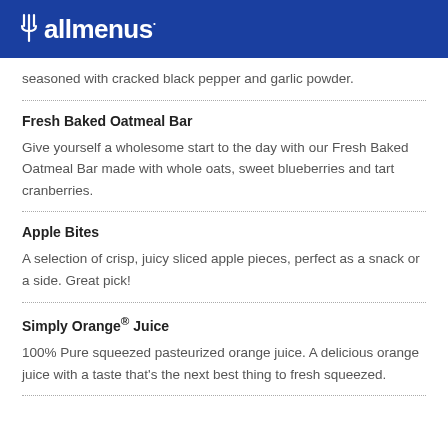allmenus
seasoned with cracked black pepper and garlic powder.
Fresh Baked Oatmeal Bar
Give yourself a wholesome start to the day with our Fresh Baked Oatmeal Bar made with whole oats, sweet blueberries and tart cranberries.
Apple Bites
A selection of crisp, juicy sliced apple pieces, perfect as a snack or a side. Great pick!
Simply Orange® Juice
100% Pure squeezed pasteurized orange juice. A delicious orange juice with a taste that's the next best thing to fresh squeezed.